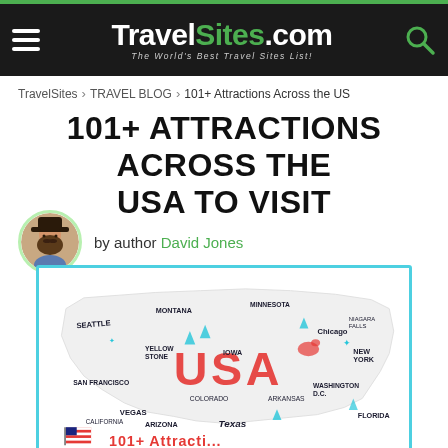TravelSites.com — The World's Best Travel Sites List!
TravelSites > TRAVEL BLOG > 101+ Attractions Across the US
101+ ATTRACTIONS ACROSS THE USA TO VISIT
by author David Jones
[Figure (illustration): Illustrated map of the USA with handwritten-style city and state names including Seattle, Montana, Minnesota, Yellow Stone, Iowa, Chicago, Niagara Falls, New York, San Francisco, Colorado, Arkansas, Washington D.C., Vegas, California, Arizona, Texas, Florida, and large USA text in the center. Decorative icons include bears, trees, monuments, and a US flag in the lower left corner.]